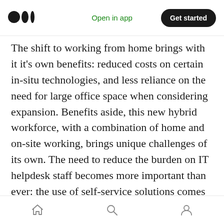Medium logo | Open in app | Get started
The shift to working from home brings with it it's own benefits: reduced costs on certain in-situ technologies, and less reliance on the need for large office space when considering expansion. Benefits aside, this new hybrid workforce, with a combination of home and on-site working, brings unique challenges of its own. The need to reduce the burden on IT helpdesk staff becomes more important than ever: the use of self-service solutions comes into its own where this is concerned.
Home | Search | Profile